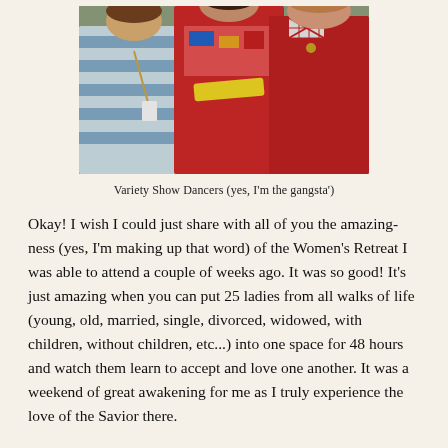[Figure (photo): Photo of three women, one in a blue striped shirt with a lanyard, one in a red costume with a yellow sash (described as the gangsta'), and one in a red outfit with a checkered bow.]
Variety Show Dancers  (yes, I'm the gangsta')
Okay!  I wish I could just share with all of you the amazing-ness (yes, I'm making up that word) of the Women's Retreat I was able to attend a couple of weeks ago.  It was so good!  It's just amazing when you can put 25 ladies from all walks of life (young, old, married, single, divorced, widowed, with children, without children, etc...) into one space for 48 hours and watch them learn to accept and love one another.  It was a weekend of great awakening for me as I truly experience the love of the Savior there.